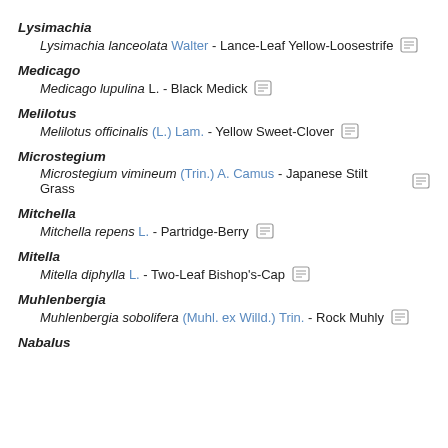Lysimachia
Lysimachia lanceolata Walter - Lance-Leaf Yellow-Loosestrife
Medicago
Medicago lupulina L. - Black Medick
Melilotus
Melilotus officinalis (L.) Lam. - Yellow Sweet-Clover
Microstegium
Microstegium vimineum (Trin.) A. Camus - Japanese Stilt Grass
Mitchella
Mitchella repens L. - Partridge-Berry
Mitella
Mitella diphylla L. - Two-Leaf Bishop's-Cap
Muhlenbergia
Muhlenbergia sobolifera (Muhl. ex Willd.) Trin. - Rock Muhly
Nabalus